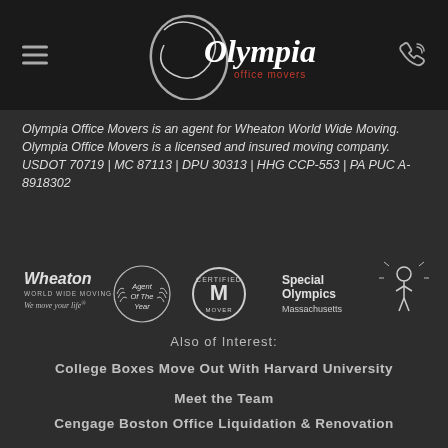[Figure (logo): Olympia Office Movers logo with hamburger menu and phone icon in dark header bar]
Olympia Office Movers is an agent for Wheaton World Wide Moving. Olympia Office Movers is a licensed and insured moving company. USDOT 70719 | MC 87113 | DPU 30313 | HHG CCP-553 | PA PUC A-8918302
[Figure (logo): Row of logos: Wheaton World Wide Moving 'We move your life', Agent Of The Year laurel wreath, Certified Mover M logo, Special Olympics Massachusetts logo with person figure]
Also of Interest:
College Boxes Move Out With Harvard University
Meet the Team
Cengage Boston Office Liquidation & Renovation